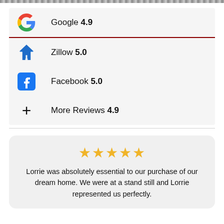Google 4.9
Zillow 5.0
Facebook 5.0
More Reviews 4.9
★★★★★ Lorrie was absolutely essential to our purchase of our dream home. We were at a stand still and Lorrie represented us perfectly.